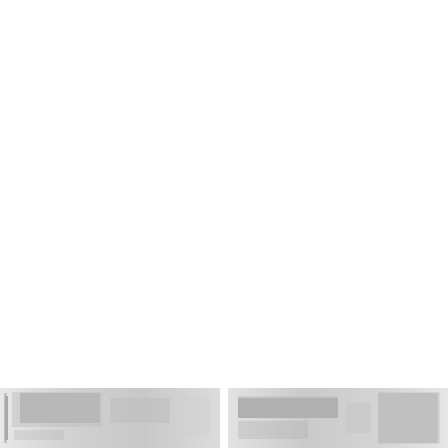[Figure (photo): Two blurred/faded photographs or images at the bottom of an otherwise blank white page. The images are low contrast, mostly white and light grey, appearing to show indoor scenes or interiors. They are separated by a small white gap.]